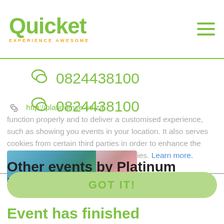Quicket — EXPERIENCE AWESOME
0824438100
0824438100
http://platinumce.co.za
Quicket makes use of http://platinumce.co.za function properly and to deliver a customised experience, such as showing you events in your location. It also serves cookies from certain third parties in order to enhance the website agree to the use of such cookies. Learn more.
Other events by Platinum Marketing
[Figure (photo): Two partial event images side by side — left shows a teal/green background with partial figure, right shows pink flowers]
GOT IT!
Event has finished